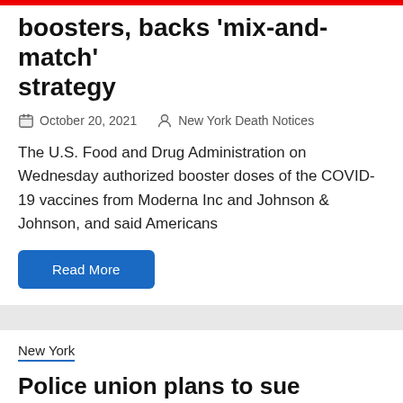U.S. FDA clears Moderna and J&J boosters, backs 'mix-and-match' strategy
October 20, 2021   New York Death Notices
The U.S. Food and Drug Administration on Wednesday authorized booster doses of the COVID-19 vaccines from Moderna Inc and Johnson & Johnson, and said Americans
Read More
New York
Police union plans to sue over mayor's vaccine mandate
October 20, 2021   New York Death Notices
After Mayor Bill de Blasio started his vaccine mandate